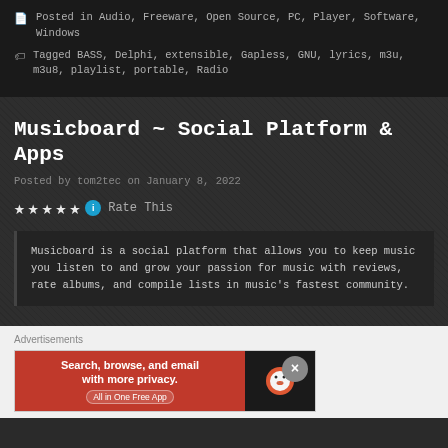Posted in Audio, Freeware, Open Source, PC, Player, Software, Windows
Tagged BASS, Delphi, extensible, Gapless, GNU, lyrics, m3u, m3u8, playlist, portable, Radio
Musicboard ~ Social Platform & Apps
Posted by tom2tec on January 8, 2022
★★★★★ i Rate This
Musicboard is a social platform that allows you to keep music you listen to and grow your passion for music with reviews, rate albums, and compile lists in music's fastest community.
Advertisements
[Figure (screenshot): DuckDuckGo advertisement banner: 'Search, browse, and email with more privacy. All in One Free App' on red background with DuckDuckGo logo on dark background]